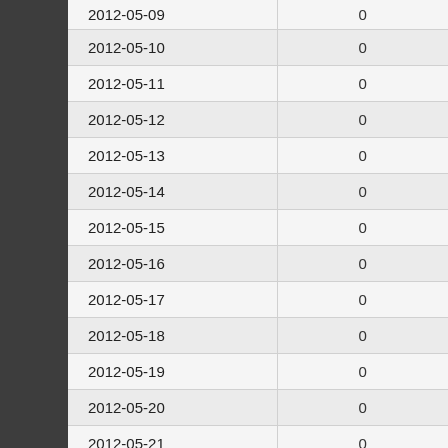| Date | Value |
| --- | --- |
| 2012-05-09 | 0 |
| 2012-05-10 | 0 |
| 2012-05-11 | 0 |
| 2012-05-12 | 0 |
| 2012-05-13 | 0 |
| 2012-05-14 | 0 |
| 2012-05-15 | 0 |
| 2012-05-16 | 0 |
| 2012-05-17 | 0 |
| 2012-05-18 | 0 |
| 2012-05-19 | 0 |
| 2012-05-20 | 0 |
| 2012-05-21 | 0 |
| 2012-05-22 | 0 |
| 2012-05-23 | 0 |
| 2012-05-24 | 0 |
| 2012-05-25 | 0 |
| 2012-05-26 | 0 |
| 2012-05-27 | 0 |